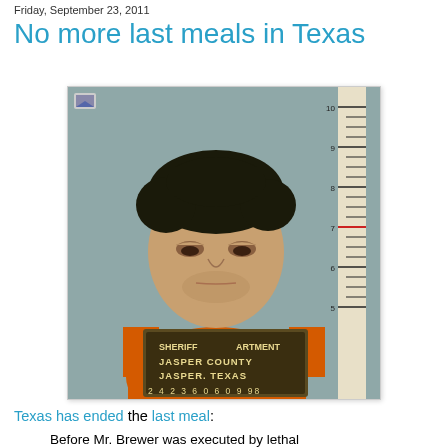Friday, September 23, 2011
No more last meals in Texas
[Figure (photo): Mugshot of a man in an orange jumpsuit holding a Jasper County Sheriff's Department booking sign. The sign reads: SHERIFF ARTMENT, JASPER COUNTY, JASPER TEXAS, 2 4 2 3 6  0 6 0 9 98. A measurement ruler is visible in the background.]
Texas has ended the last meal:
Before Mr. Brewer was executed by lethal injection in the Huntsville Unit on Wednesday, he